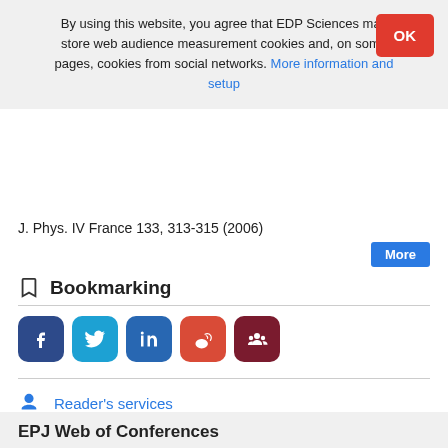By using this website, you agree that EDP Sciences may store web audience measurement cookies and, on some pages, cookies from social networks. More information and setup
J. Phys. IV France 133, 313-315 (2006)
Bookmarking
[Figure (infographic): Social sharing icons: Facebook (dark blue), Twitter (blue), LinkedIn (blue), Weibo (red), Mendeley (dark red)]
Reader's services
Email-alert
EPJ Web of Conferences